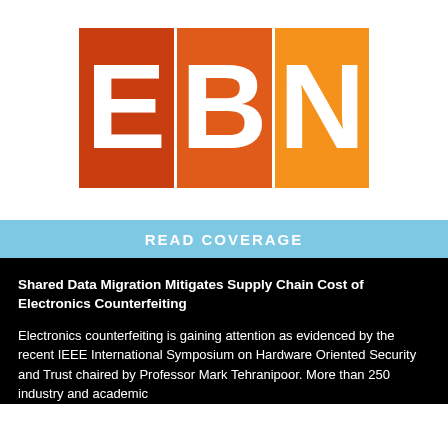[Figure (logo): EBN logo with three colored squares: dark orange with white E, medium orange with white B, light orange with white N]
READ COVERAGE
Shared Data Migration Mitigates Supply Chain Cost of Electronics Counterfeiting
Electronics counterfeiting is gaining attention as evidenced by the recent IEEE International Symposium on Hardware Oriented Security and Trust chaired by Professor Mark Tehranipoor. More than 250 industry and academic